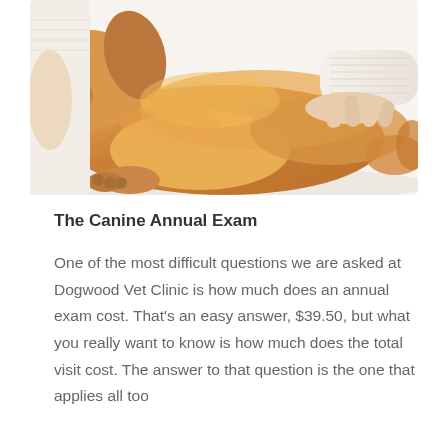[Figure (photo): A golden retriever dog lying down being petted by a person wearing a light knit sweater. The dog is looking upward and has fluffy golden fur. The background is white/light.]
The Canine Annual Exam
One of the most difficult questions we are asked at Dogwood Vet Clinic is how much does an annual exam cost. That's an easy answer, $39.50, but what you really want to know is how much does the total visit cost. The answer to that question is the one that applies all too